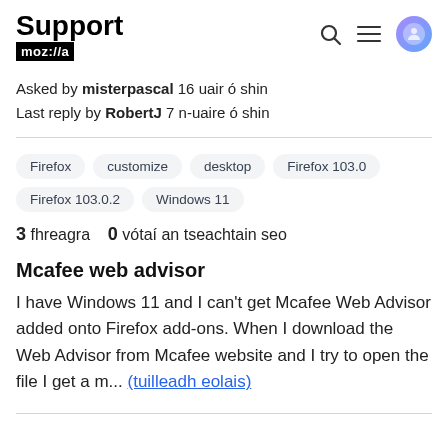Support moz://a
Asked by misterpascal 16 uair ó shin
Last reply by RobertJ 7 n-uaire ó shin
Firefox  customize  desktop  Firefox 103.0  Firefox 103.0.2  Windows 11
3 fhreagra   0 vótaí an tseachtain seo
Mcafee web advisor
I have Windows 11 and I can't get Mcafee Web Advisor added onto Firefox add-ons. When I download the Web Advisor from Mcafee website and I try to open the file I get a m... (tuilleadh eolais)